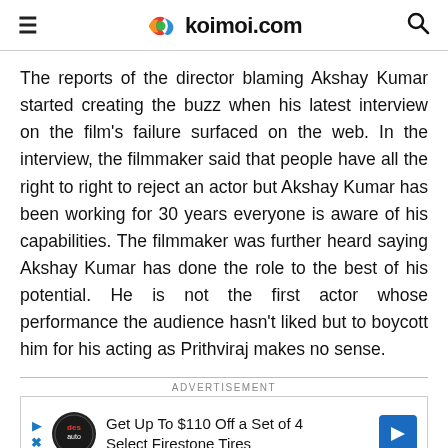koimoi.com
The reports of the director blaming Akshay Kumar started creating the buzz when his latest interview on the film's failure surfaced on the web. In the interview, the filmmaker said that people have all the right to right to reject an actor but Akshay Kumar has been working for 30 years everyone is aware of his capabilities. The filmmaker was further heard saying Akshay Kumar has done the role to the best of his potential. He is not the first actor whose performance the audience hasn't liked but to boycott him for his acting as Prithviraj makes no sense.
[Figure (other): Advertisement banner: Get Up To $110 Off a Set of 4 Select Firestone Tires]